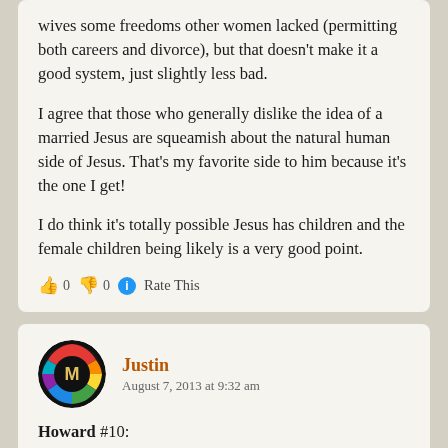wives some freedoms other women lacked (permitting both careers and divorce), but that doesn't make it a good system, just slightly less bad.

I agree that those who generally dislike the idea of a married Jesus are squeamish about the natural human side of Jesus. That's my favorite side to him because it's the one I get!

I do think it's totally possible Jesus has children and the female children being likely is a very good point.
👍 0 👎 0 ℹ Rate This
Justin
August 7, 2013 at 9:32 am
Howard #10: